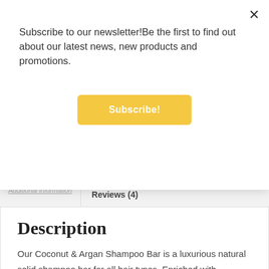Subscribe to our newsletter!Be the first to find out about our latest news, new products and promotions.
Subscribe!
Additional information
Reviews (4)
Description
Our Coconut & Argan Shampoo Bar is a luxurious natural solid shampoo bar for all hair types. Enriched with lashings of Argan Oil. Made with loads of hair loving natural oils for a lush and creamy lather. It gently cleans your hair without stripping away natural protective oils. Go all natural and ditch the plastic bottle